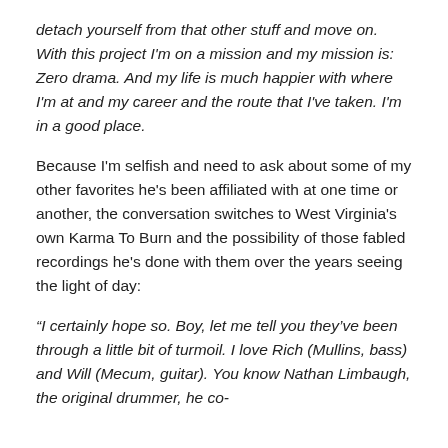detach yourself from that other stuff and move on. With this project I'm on a mission and my mission is: Zero drama. And my life is much happier with where I'm at and my career and the route that I've taken. I'm in a good place.
Because I'm selfish and need to ask about some of my other favorites he's been affiliated with at one time or another, the conversation switches to West Virginia's own Karma To Burn and the possibility of those fabled recordings he's done with them over the years seeing the light of day:
“I certainly hope so. Boy, let me tell you they’ve been through a little bit of turmoil. I love Rich (Mullins, bass) and Will (Mecum, guitar). You know Nathan Limbaugh, the original drummer, he co-